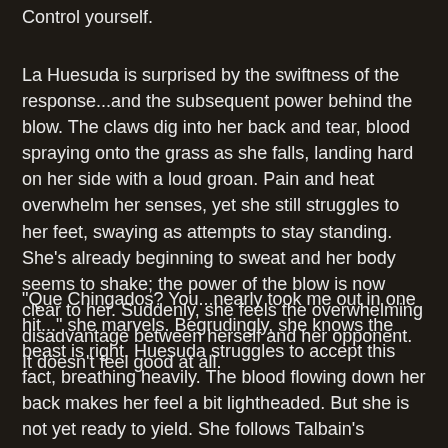Control yourself.
La Huesuda is surprised by the swiftness of the response...and the subsequent power behind the blow. The claws dig into her back and tear, blood spraying onto the grass as she falls, landing hard on her side with a loud groan. Pain and heat overwhelm her senses, yet she still struggles to her feet, swaying as attempts to stay standing. She's already beginning to sweat and her body seems to shake; the power of the blow is now clear to her. Suddenly, she feels the overwhelming disadvantage between herself and her opponent. It doesn't feel good at all.
"Que Chingados? You...nearly took me out in one hit..." she marvels. Begrudingly, she knows the beast is right. Huesuda struggles to accept this fact, breathing heavily. The blood flowing down her back makes her feel a bit lightheaded. But she is not yet ready to yield. She follows Talbain's advice, slowing her breathing as her chi aura begins to manifest. It is